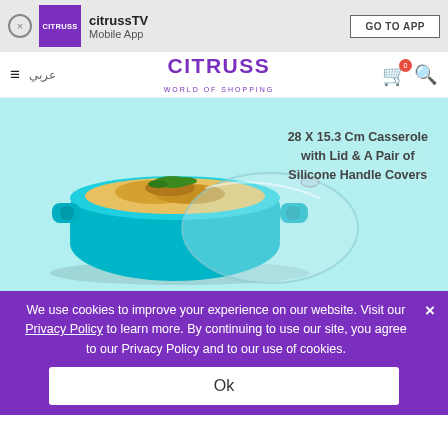citrussTV Mobile App — GO TO APP
[Figure (logo): CITRUSS logo in purple square with CITRUSS text and WORLD OF SHOPPING tagline, navigation bar with hamburger menu, Arabic text, cart icon and search icon]
[Figure (photo): Teal/turquoise casserole dish with glass lid, filled with cooked food, on light blue background. Text overlay reads: 28 X 15.3 Cm Casserole with Lid & A Pair of Silicone Handle Covers]
We use cookies to improve your experience on our website. Visit our Privacy Policy to learn more. By continuing to use our site, you agree to our Privacy Policy and to our use of cookies.
Ok